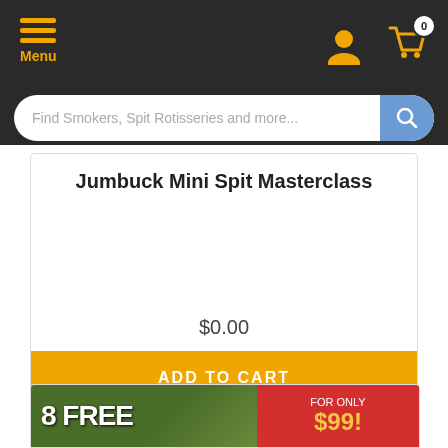Menu
Find Smokers, Spit Rotisseries and more...
Jumbuck Mini Spit Masterclass
$0.00
ADD TO CART
[Figure (screenshot): Promotional banner with text showing free items and $99 price]